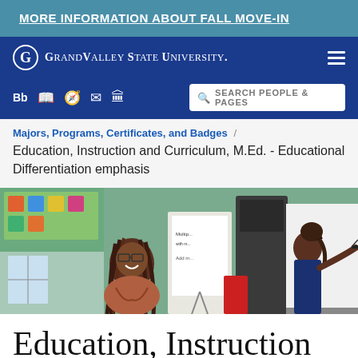MORE INFORMATION ABOUT FALL MOVE-IN
[Figure (logo): Grand Valley State University logo and navigation bar with hamburger menu]
Bb [icons] SEARCH PEOPLE & PAGES
Majors, Programs, Certificates, and Badges / Education, Instruction and Curriculum, M.Ed. - Educational Differentiation emphasis
[Figure (photo): Classroom photo showing a smiling teacher with braided hair and a student writing on a whiteboard]
Education, Instruction